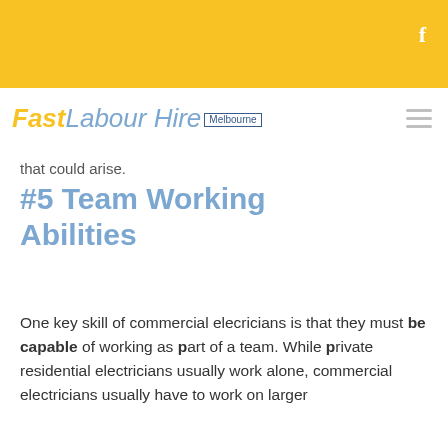f
[Figure (logo): Fast Labour Hire Melbourne logo with yellow 'Fast' text and blue 'Labour Hire' text, with 'Melbourne' in a bordered box beneath]
that could arise.
#5 Team Working Abilities
One key skill of commercial elecricians is that they must be capable of working as part of a team. While private residential electricians usually work alone, commercial electricians usually have to work on larger